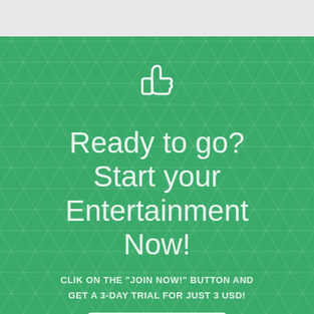[Figure (illustration): Thumbs up icon in white outline style]
Ready to go? Start your Entertainment Now!
CLIK ON THE "JOIN NOW!" BUTTON AND GET A 3-DAY TRIAL FOR JUST 3 USD!
JOIN NOW!